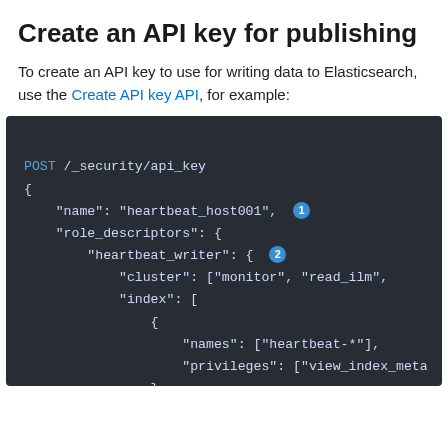Create an API key for publishing
To create an API key to use for writing data to Elasticsearch, use the Create API key API, for example:
[Figure (screenshot): Dark-themed code block showing a POST /_security/api_key request body with callout badges 1 and 2, containing name, role_descriptors with heartbeat_writer cluster and index settings]